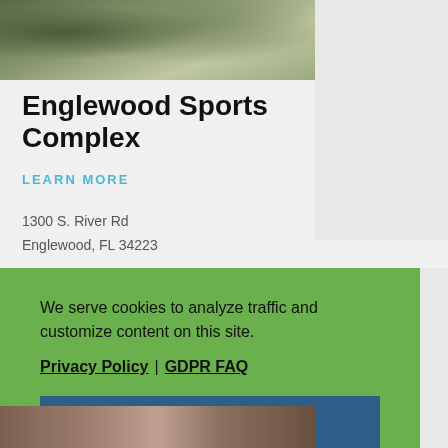[Figure (photo): Exterior photo of Englewood Sports Complex building with landscaping]
Englewood Sports Complex
LEARN MORE
1300 S. River Rd
Englewood, FL 34223
We serve cookies to analyze traffic and customize content on this site. Privacy Policy | GDPR FAQ
[Figure (photo): Bottom partial photo of people at sports complex]